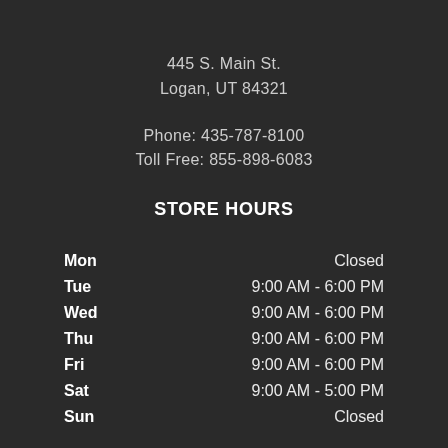445 S. Main St.
Logan, UT 84321
Phone: 435-787-8100
Toll Free: 855-898-6083
STORE HOURS
| Day | Hours |
| --- | --- |
| Mon | Closed |
| Tue | 9:00 AM - 6:00 PM |
| Wed | 9:00 AM - 6:00 PM |
| Thu | 9:00 AM - 6:00 PM |
| Fri | 9:00 AM - 6:00 PM |
| Sat | 9:00 AM - 5:00 PM |
| Sun | Closed |